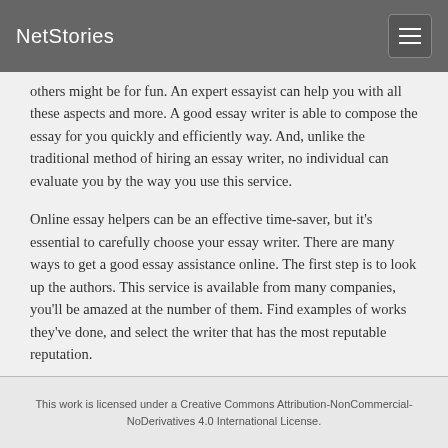NetStories
others might be for fun. An expert essayist can help you with all these aspects and more. A good essay writer is able to compose the essay for you quickly and efficiently way. And, unlike the traditional method of hiring an essay writer, no individual can evaluate you by the way you use this service.
Online essay helpers can be an effective time-saver, but it’s essential to carefully choose your essay writer. There are many ways to get a good essay assistance online. The first step is to look up the authors. This service is available from many companies, you’ll be amazed at the number of them. Find examples of works they’ve done, and select the writer that has the most reputable reputation.
This work is licensed under a Creative Commons Attribution-NonCommercial-NoDerivatives 4.0 International License.